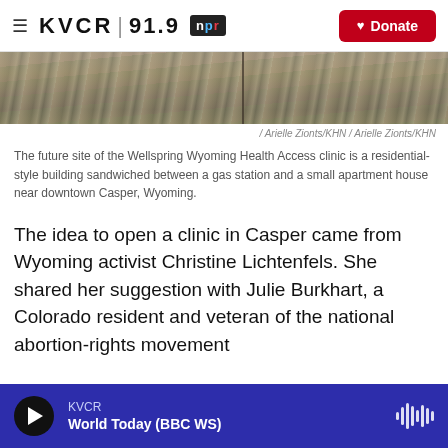≡ KVCR 91.9 npr ♥ Donate
[Figure (photo): Partial view of a rocky landscape with stones/gravel ground, split by a vertical seam, with some green vegetation visible on right edge]
/ Arielle Zionts/KHN / Arielle Zionts/KHN
The future site of the Wellspring Wyoming Health Access clinic is a residential-style building sandwiched between a gas station and a small apartment house near downtown Casper, Wyoming.
The idea to open a clinic in Casper came from Wyoming activist Christine Lichtenfels. She shared her suggestion with Julie Burkhart, a Colorado resident and veteran of the national abortion-rights movement
KVCR — World Today (BBC WS)